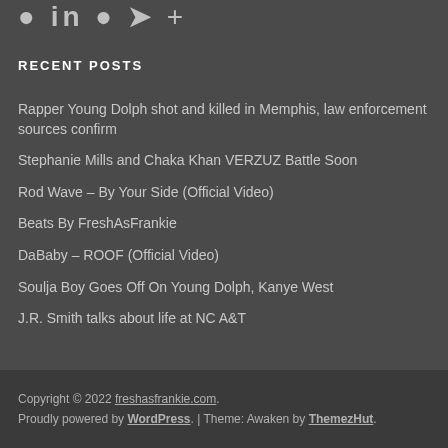[Figure (other): Social media icons row (partially visible at top)]
RECENT POSTS
Rapper Young Dolph shot and killed in Memphis, law enforcement sources confirm
Stephanie Mills and Chaka Khan VERZUZ Battle Soon
Rod Wave – By Your Side (Official Video)
Beats By FreshAsFrankie
DaBaby – ROOF (Official Video)
Soulja Boy Goes Off On Young Dolph, Kanye West
J.R. Smith talks about life at NC A&T
Copyright © 2022 freshasfrankie.com. Proudly powered by WordPress. | Theme: Awaken by ThemezHut.